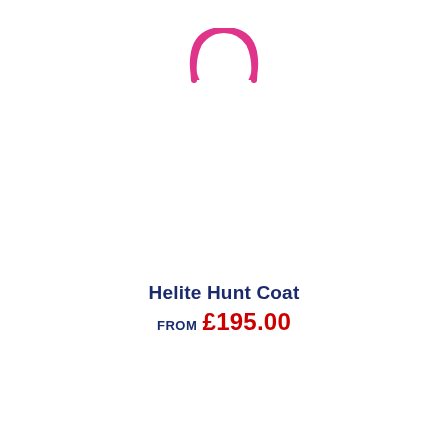[Figure (logo): Pink/magenta open circle arc logo at top center of page]
Helite Hunt Coat
FROM £195.00